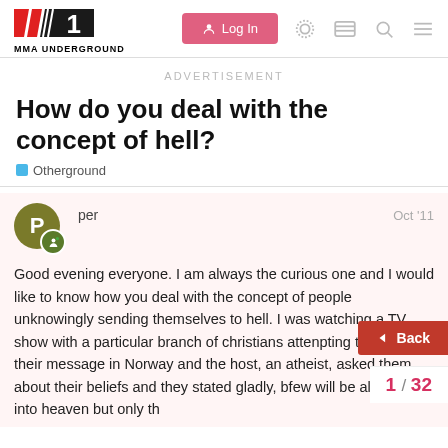MMA UNDERGROUND — Log In
ADVERTISEMENT
How do you deal with the concept of hell?
Otherground
per   Oct '11
Good evening everyone. I am always the curious one and I would like to know how you deal with the concept of people unknowingly sending themselves to hell. I was watching a TV show with a particular branch of christians attempting to spread their message in Norway and the host, an atheist, asked them about their beliefs and they stated gladly, b... few will be allowed into heaven but only th...